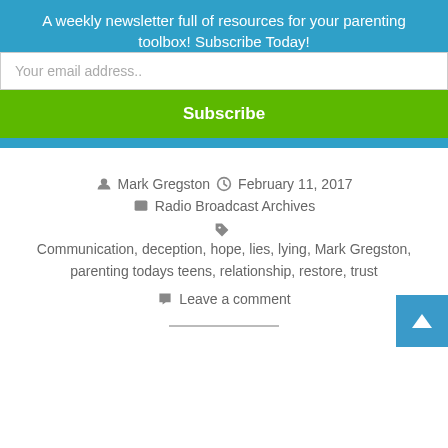A weekly newsletter full of resources for your parenting toolbox! Subscribe Today!
Your email address..
Subscribe
Mark Gregston   February 11, 2017
Radio Broadcast Archives
Communication, deception, hope, lies, lying, Mark Gregston, parenting todays teens, relationship, restore, trust
Leave a comment